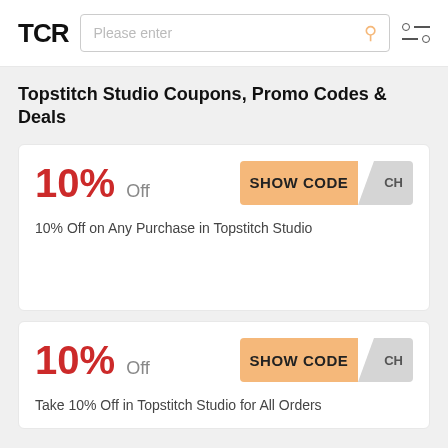TCR | Please enter
Topstitch Studio Coupons, Promo Codes & Deals
10% Off — 10% Off on Any Purchase in Topstitch Studio — SHOW CODE
10% Off — Take 10% Off in Topstitch Studio for All Orders — SHOW CODE